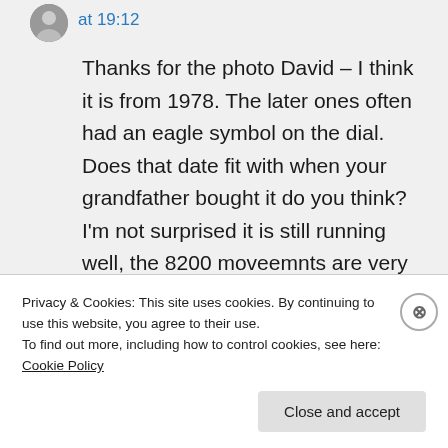at 19:12
Thanks for the photo David – I think it is from 1978. The later ones often had an eagle symbol on the dial. Does that date fit with when your grandfather bought it do you think? I'm not surprised it is still running well, the 8200 moveemnts are very
Privacy & Cookies: This site uses cookies. By continuing to use this website, you agree to their use.
To find out more, including how to control cookies, see here: Cookie Policy
Close and accept